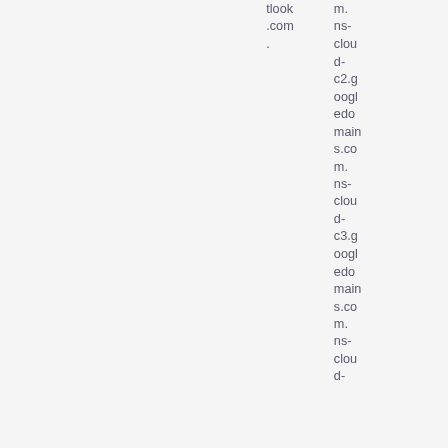tlook.com.
m.ns-cloud-c2.googledomains.com. ns-cloud-c3.googledomains.com. ns-cloud-d